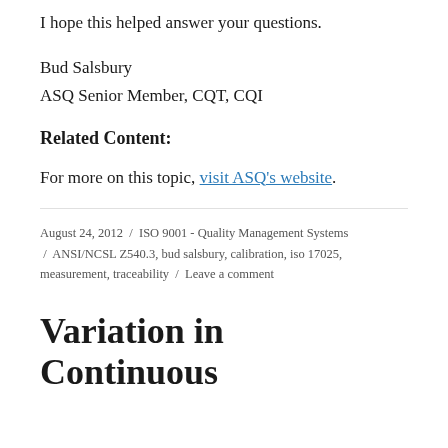I hope this helped answer your questions.
Bud Salsbury
ASQ Senior Member, CQT, CQI
Related Content:
For more on this topic, visit ASQ's website.
August 24, 2012 / ISO 9001 - Quality Management Systems / ANSI/NCSL Z540.3, bud salsbury, calibration, iso 17025, measurement, traceability / Leave a comment
Variation in Continuous